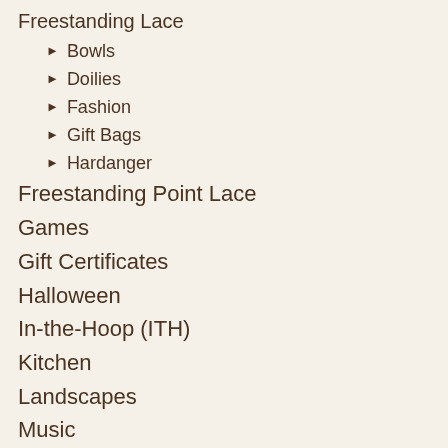Freestanding Lace
Bowls
Doilies
Fashion
Gift Bags
Hardanger
Freestanding Point Lace
Games
Gift Certificates
Halloween
In-the-Hoop (ITH)
Kitchen
Landscapes
Music
Nautical
Oriental
Past Times
Quilt Kits and Patterns
Quilting
Redwork